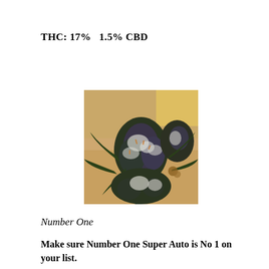THC: 17%   1.5% CBD
[Figure (photo): Photo of cannabis plant with dense white buds and green leaves under indoor grow lighting]
Number One
Make sure Number One Super Auto is No 1 on your list.